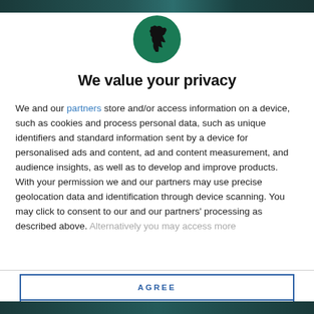[Figure (logo): Circular green logo with black bird/raven silhouette icon]
We value your privacy
We and our partners store and/or access information on a device, such as cookies and process personal data, such as unique identifiers and standard information sent by a device for personalised ads and content, ad and content measurement, and audience insights, as well as to develop and improve products. With your permission we and our partners may use precise geolocation data and identification through device scanning. You may click to consent to our and our partners' processing as described above. Alternatively you may access more
AGREE
MORE OPTIONS